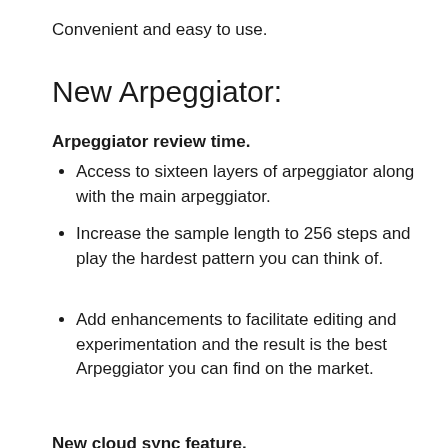Convenient and easy to use.
New Arpeggiator:
Arpeggiator review time.
Access to sixteen layers of arpeggiator along with the main arpeggiator.
Increase the sample length to 256 steps and play the hardest pattern you can think of.
Add enhancements to facilitate editing and experimentation and the result is the best Arpeggiator you can find on the market.
New cloud sync feature.